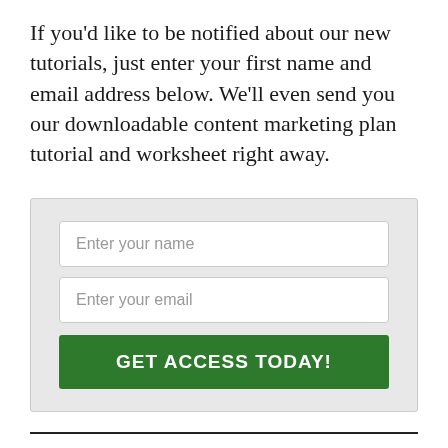If you'd like to be notified about our new tutorials, just enter your first name and email address below. We'll even send you our downloadable content marketing plan tutorial and worksheet right away.
[Figure (screenshot): A web form with two text input fields ('Enter your name', 'Enter your email') and a green button labeled 'GET ACCESS TODAY!' on a light gray background.]